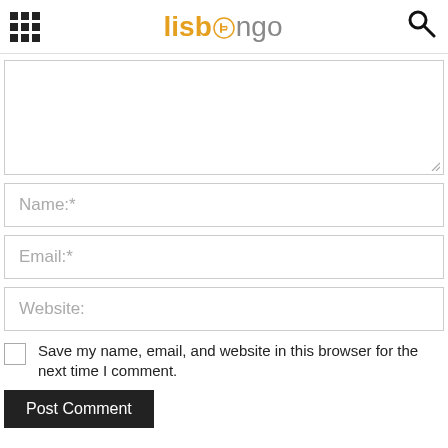lisbongo
[Figure (screenshot): Comment form with textarea, Name field, Email field, Website field, save checkbox, and Post Comment button]
Name:*
Email:*
Website:
Save my name, email, and website in this browser for the next time I comment.
Post Comment